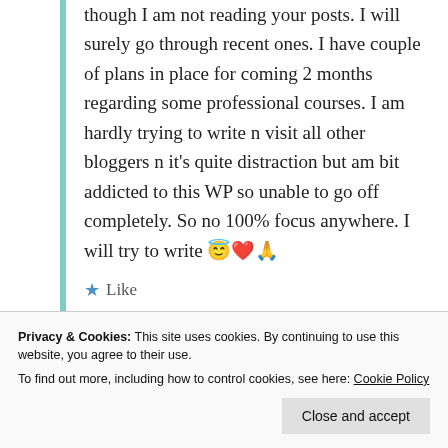though I am not reading your posts. I will surely go through recent ones. I have couple of plans in place for coming 2 months regarding some professional courses. I am hardly trying to write n visit all other bloggers n it's quite distraction but am bit addicted to this WP so unable to go off completely. So no 100% focus anywhere. I will try to write 😇❤️🙏
★ Like
Privacy & Cookies: This site uses cookies. By continuing to use this website, you agree to their use. To find out more, including how to control cookies, see here: Cookie Policy
Close and accept